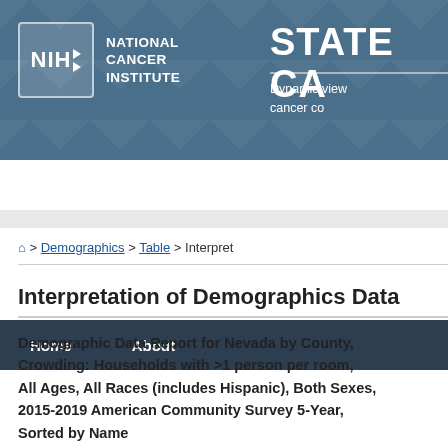NIH National Cancer Institute — STATE CA [State Cancer Profiles] — Dynamic view of cancer co[ntrol]
Home | About
🏠 > Demographics > Table > Interpret
Interpretation of Demographics Data
Demographic Data Report for Nevada by County, Crowding: Households with >1 person per room, All Ages, All Races (includes Hispanic), Both Sexes, 2015-2019 American Community Survey 5-Year, Sorted by Name